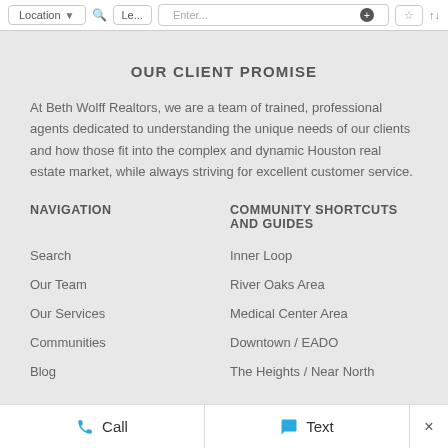Location | Le... | Enter... | ☆ | ↑↓
OUR CLIENT PROMISE
At Beth Wolff Realtors, we are a team of trained, professional agents dedicated to understanding the unique needs of our clients and how those fit into the complex and dynamic Houston real estate market, while always striving for excellent customer service.
NAVIGATION
COMMUNITY SHORTCUTS AND GUIDES
Search
Inner Loop
Our Team
River Oaks Area
Our Services
Medical Center Area
Communities
Downtown / EADO
Blog
The Heights / Near North
Call   Text   ×